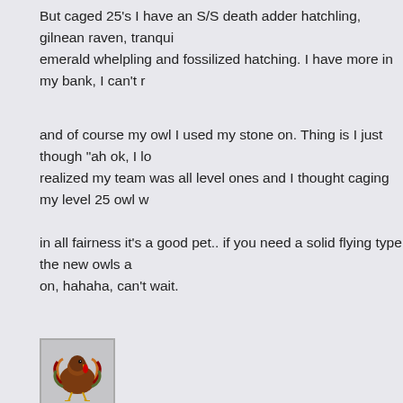But caged 25's I have an S/S death adder hatchling, gilnean raven, tranquil emerald whelpling and fossilized hatching. I have more in my bank, I can't r
and of course my owl I used my stone on. Thing is I just though "ah ok, I lo realized my team was all level ones and I thought caging my level 25 owl w
in all fairness it's a good pet.. if you need a solid flying type the new owls a on, hahaha, can't wait.
[Figure (illustration): Avatar image of a turkey/bird character for user Khorah]
Khorah
Re: up to date pet battle advice!?
September 8th, 2016, 10:00 am
You also get the quest for all characters.. So, if you have alts, you can also that way..
Also, several of the lowbie tamers give some really good exp, so I used the
Also, focus on the achievement that awards the safari hat, which nets you -
Also, pay attention to tamer strategies. There are several out there as you g These are GREAT for leveling up low level pets.
There are a LOT of fine resources available here on Warcraftpets. Take ad